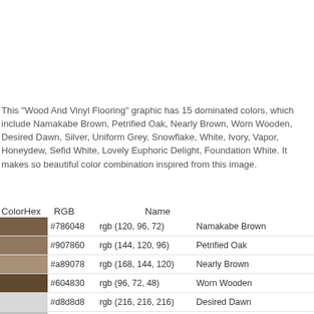This "Wood And Vinyl Flooring" graphic has 15 dominated colors, which include Namakabe Brown, Petrified Oak, Nearly Brown, Worn Wooden, Desired Dawn, Silver, Uniform Grey, Snowflake, White, Ivory, Vapor, Honeydew, Sefid White, Lovely Euphoric Delight, Foundation White. It makes so beautiful color combination inspired from this image.
| ColorHex | RGB | Name |
| --- | --- | --- |
| #786048 | rgb (120, 96, 72) | Namakabe Brown |
| #907860 | rgb (144, 120, 96) | Petrified Oak |
| #a89078 | rgb (168, 144, 120) | Nearly Brown |
| #604830 | rgb (96, 72, 48) | Worn Wooden |
| #d8d8d8 | rgb (216, 216, 216) | Desired Dawn |
| #c0c0c0 | rgb (192, 192, 192) | Silver |
| #a8a8a8 | rgb (168, 168, 168) | Uniform Grey |
| #f0f0f0 | rgb (240, 240, 240) | Snowflake |
| #ffffff | rgb (255, 255, 255) | White |
| #fffff0 | rgb (255, 255, 240) | Ivory |